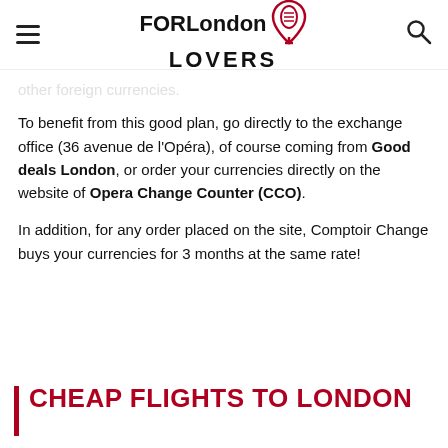FOR London LOVERS
other foreign currencies.
To benefit from this good plan, go directly to the exchange office (36 avenue de l'Opéra), of course coming from Good deals London, or order your currencies directly on the website of Opera Change Counter (CCO).
In addition, for any order placed on the site, Comptoir Change buys your currencies for 3 months at the same rate!
CHEAP FLIGHTS TO LONDON